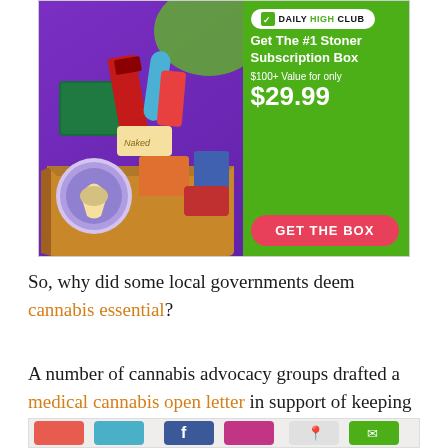[Figure (photo): Daily High Club advertisement banner showing a subscription box filled with cannabis accessories on a purple background, with green panel on right advertising 'Get The #1 Stoner Subscription Box $100+ Value for only $29.99' with a red 'GET THE BOX' button.]
So, why did some local governments deem cannabis essential?
A number of cannabis advocacy groups drafted a medical cannabis open letter in support of keeping cannabis businesses open during the pandemic:
[Figure (screenshot): Bottom partial image strip showing social media or newsletter icons including what appears to be a Facebook icon, camera/photo icon, and mail/envelope icon.]